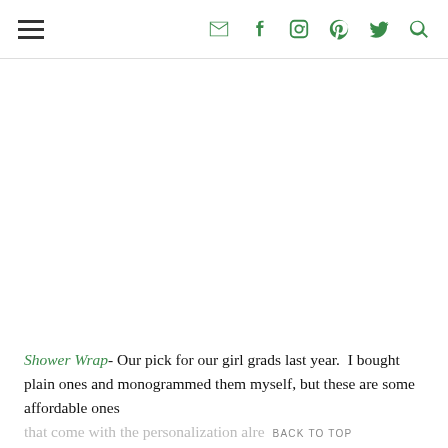Navigation header with hamburger menu and social icons: email, facebook, instagram, pinterest, twitter, search
Shower Wrap- Our pick for our girl grads last year.  I bought plain ones and monogrammed them myself, but these are some affordable ones that come with the personalization alre… There are a few more options pictured at the end